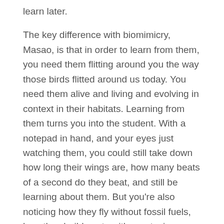learn later.
The key difference with biomimicry, Masao, is that in order to learn from them, you need them flitting around you the way those birds flitted around us today. You need them alive and living and evolving in context in their habitats. Learning from them turns you into the student. With a notepad in hand, and your eyes just watching them, you could still take down how long their wings are, how many beats of a second do they beat, and still be learning about them. But you're also noticing how they fly without fossil fuels, how they build nests with non-toxic materials, and that's where we can learn from them.
So it is learning from Nature that brings you closer to it?